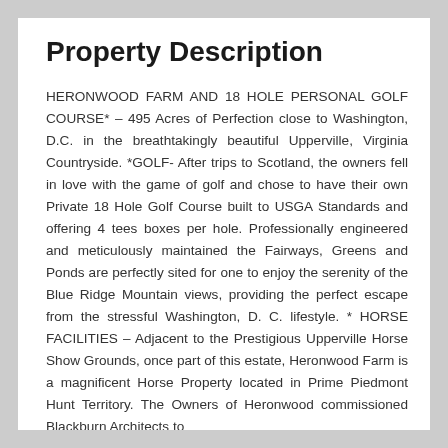Property Description
HERONWOOD FARM AND 18 HOLE PERSONAL GOLF COURSE* – 495 Acres of Perfection close to Washington, D.C. in the breathtakingly beautiful Upperville, Virginia Countryside. *GOLF- After trips to Scotland, the owners fell in love with the game of golf and chose to have their own Private 18 Hole Golf Course built to USGA Standards and offering 4 tees boxes per hole. Professionally engineered and meticulously maintained the Fairways, Greens and Ponds are perfectly sited for one to enjoy the serenity of the Blue Ridge Mountain views, providing the perfect escape from the stressful Washington, D. C. lifestyle. * HORSE FACILITIES – Adjacent to the Prestigious Upperville Horse Show Grounds, once part of this estate, Heronwood Farm is a magnificent Horse Property located in Prime Piedmont Hunt Territory. The Owners of Heronwood commissioned Blackburn Architects to